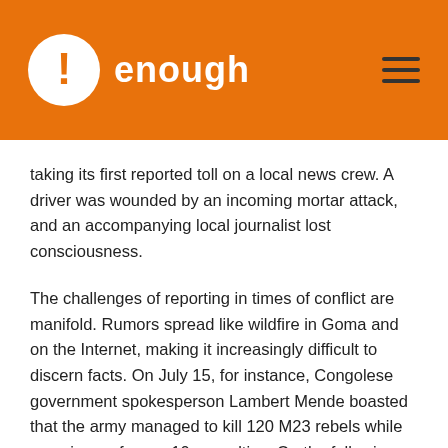enough
taking its first reported toll on a local news crew. A driver was wounded by an incoming mortar attack, and an accompanying local journalist lost consciousness.
The challenges of reporting in times of conflict are manifold. Rumors spread like wildfire in Goma and on the Internet, making it increasingly difficult to discern facts. On July 15, for instance, Congolese government spokesperson Lambert Mende boasted that the army managed to kill 120 M23 rebels while accruing as few as 10 casualties. On the following day the army presented two dead corpses and a wounded man to the Enough Project, arguing that they were M23 fighters. The army could not, however, substantiate its claims. Later, on July 24, 10 days into the fighting, M23 claimed it had killed more than 400 soldiers of the Congolese army. Surprisingly, international news outlets cited both estimates